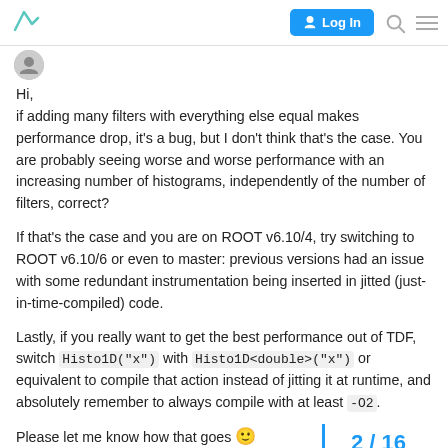Log In
Hi,
if adding many filters with everything else equal makes performance drop, it's a bug, but I don't think that's the case. You are probably seeing worse and worse performance with an increasing number of histograms, independently of the number of filters, correct?
If that's the case and you are on ROOT v6.10/4, try switching to ROOT v6.10/6 or even to master: previous versions had an issue with some redundant instrumentation being inserted in jitted (just-in-time-compiled) code.
Lastly, if you really want to get the best performance out of TDF, switch Histo1D("x") with Histo1D<double>("x") or equivalent to compile that action instead of jitting it at runtime, and absolutely remember to always compile with at least -O2.
Please let me know how that goes 🙂
Cheers,
2 / 16